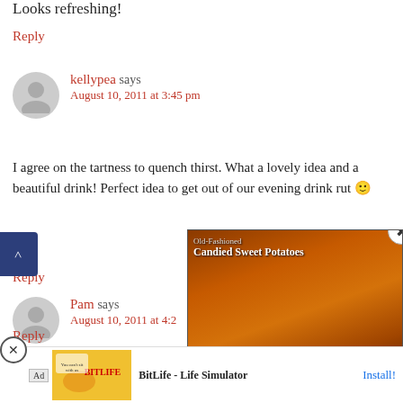Looks refreshing!
Reply
kellypea says August 10, 2011 at 3:45 pm
I agree on the tartness to quench thirst. What a lovely idea and a beautiful drink! Perfect idea to get out of our evening drink rut 🙂
Reply
Pam says August 10, 2011 at 4:2...
m! M... ...ld !!
Reply
[Figure (screenshot): Video overlay showing 'Old-Fashioned Candied Sweet Potatoes' recipe video with food image and play button]
[Figure (screenshot): BitLife Life Simulator advertisement with 'You can't sit with us' tagline and Install button]